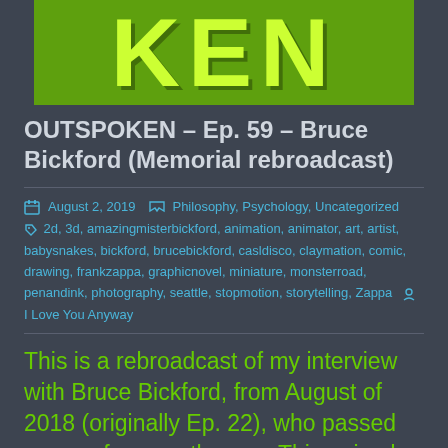[Figure (logo): Green rectangle logo with large yellow-green letters 'KEN' in bold]
OUTSPOKEN – Ep. 59 – Bruce Bickford (Memorial rebroadcast)
August 2, 2019   Philosophy, Psychology, Uncategorized   2d, 3d, amazingmisterbickford, animation, animator, art, artist, babysnakes, bickford, brucebickford, casldisco, claymation, comic, drawing, frankzappa, graphicnovel, miniature, monsterroad, penandink, photography, seattle, stopmotion, storytelling, Zappa   I Love You Anyway
This is a rebroadcast of my interview with Bruce Bickford, from August of 2018 (originally Ep. 22), who passed away a few months ago. This episode includes